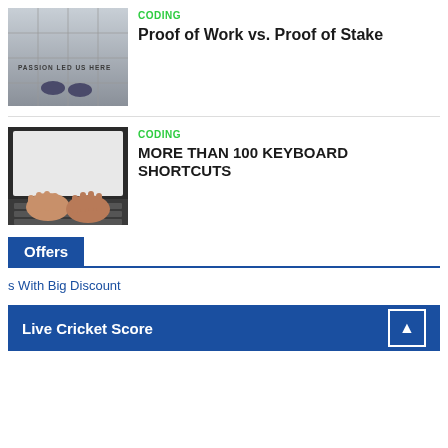[Figure (photo): Overhead shot of feet standing on pavement with text 'PASSION LED US HERE' painted on ground]
CODING
Proof of Work vs. Proof of Stake
[Figure (photo): Hands typing on a laptop keyboard]
CODING
MORE THAN 100 KEYBOARD SHORTCUTS
Offers
s With Big Discount
Live Cricket Score